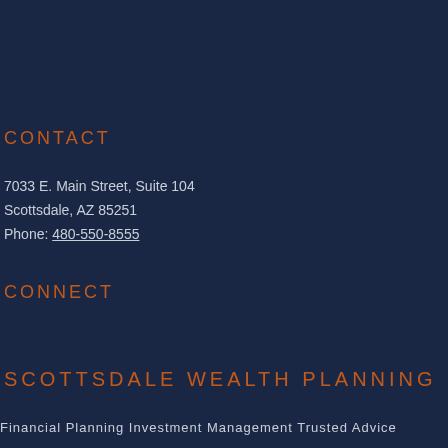CONTACT
7033 E. Main Street, Suite 104
Scottsdale, AZ 85251
Phone: 480-550-8555
CONNECT
SCOTTSDALE WEALTH PLANNING
Financial Planning  Investment Management  Trusted Advice